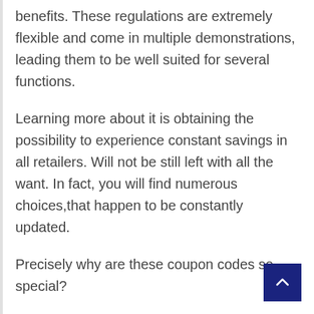benefits. These regulations are extremely flexible and come in multiple demonstrations, leading them to be well suited for several functions.
Learning more about it is obtaining the possibility to experience constant savings in all retailers. Will not be still left with all the want. In fact, you will find numerous choices,that happen to be constantly updated.
Precisely why are these coupon codes so special?
The promotion system is not new. It really has been operating for several years now through clippings in neighborhood classifieds or periodicals. This Lowes Promo Code has been current being better yet along with greater flexibilities.